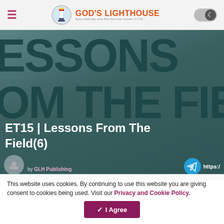GOD'S LIGHTHOUSE
[Figure (screenshot): Website screenshot showing God's Lighthouse logo and navigation bar with hamburger menu and dark mode toggle]
LESSONS FROM THE FIELD
ET15 | Lessons From The Field(6)
by GLH Publishing
This website uses cookies. By continuing to use this website you are giving consent to cookies being used. Visit our Privacy and Cookie Policy.
I Agree